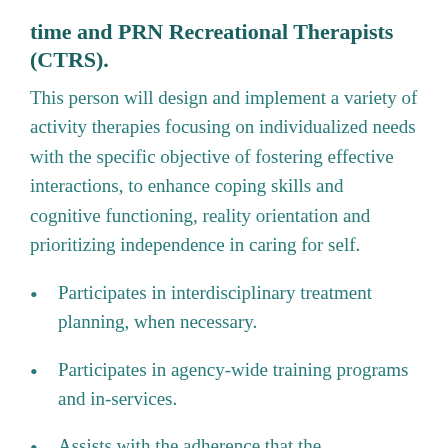time and PRN Recreational Therapists (CTRS).
This person will design and implement a variety of activity therapies focusing on individualized needs with the specific objective of fostering effective interactions, to enhance coping skills and cognitive functioning, reality orientation and prioritizing independence in caring for self.
Participates in interdisciplinary treatment planning, when necessary.
Participates in agency-wide training programs and in-services.
Assists with the adherence that the programming schedules are being conducted as